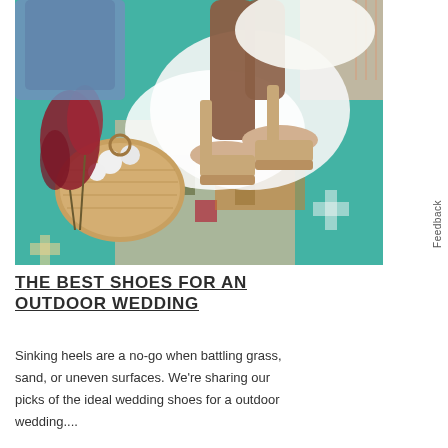[Figure (photo): Overhead shot of a woman's legs wearing nude strappy block-heeled sandals, resting on a white fur rug atop a colorful bohemian patterned rug. A woven rattan clutch bag with white pom-poms, red dried flowers, a denim jacket, and a white lace garment are also visible.]
THE BEST SHOES FOR AN OUTDOOR WEDDING
Sinking heels are a no-go when battling grass, sand, or uneven surfaces. We’re sharing our picks of the ideal wedding shoes for a outdoor wedding....